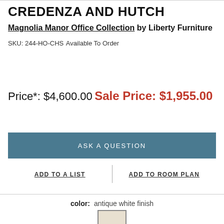CREDENZA AND HUTCH
Magnolia Manor Office Collection by Liberty Furniture
SKU: 244-HO-CHS
Available To Order
Price*: $4,600.00
Sale Price: $1,955.00
ASK A QUESTION
ADD TO A LIST
ADD TO ROOM PLAN
color: antique white finish
[Figure (other): Color swatch for antique white finish]